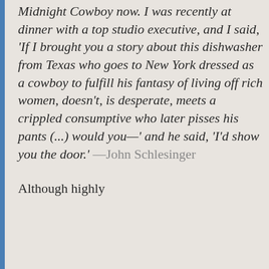'Midnight Cowboy now. I was recently at dinner with a top studio executive, and I said, 'If I brought you a story about this dishwasher from Texas who goes to New York dressed as a cowboy to fulfill his fantasy of living off rich women, doesn't, is desperate, meets a crippled consumptive who later pisses his pants (...) would you—' and he said, 'I'd show you the door.' —John Schlesinger
Although highly